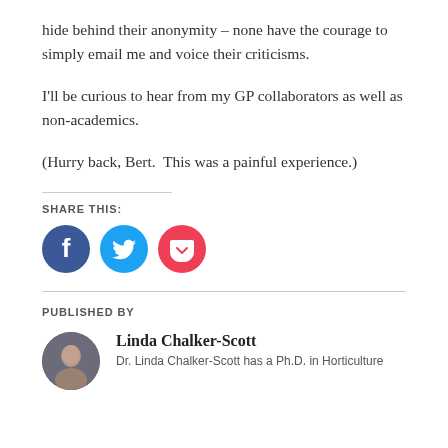hide behind their anonymity – none have the courage to simply email me and voice their criticisms.
I'll be curious to hear from my GP collaborators as well as non-academics.
(Hurry back, Bert.  This was a painful experience.)
SHARE THIS:
[Figure (infographic): Three social media share buttons: Facebook (blue circle with f icon), Twitter (light blue circle with bird icon), Pocket (red circle with pocket icon)]
PUBLISHED BY
[Figure (photo): Circular avatar photo of Linda Chalker-Scott, a woman with light hair]
Linda Chalker-Scott
Dr. Linda Chalker-Scott has a Ph.D. in Horticulture